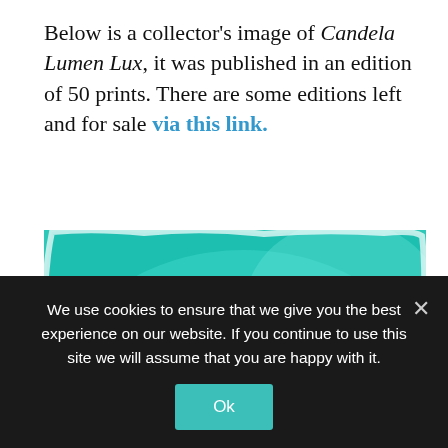Below is a collector's image of Candela Lumen Lux, it was published in an edition of 50 prints. There are some editions left and for sale via this link.
[Figure (photo): A teal/green-tinted photograph showing the silhouette of a figure or sculpture against a bright turquoise background, reminiscent of an underwater or light-art scene. The image has rough, deckled edges typical of a fine-art print.]
We use cookies to ensure that we give you the best experience on our website. If you continue to use this site we will assume that you are happy with it.